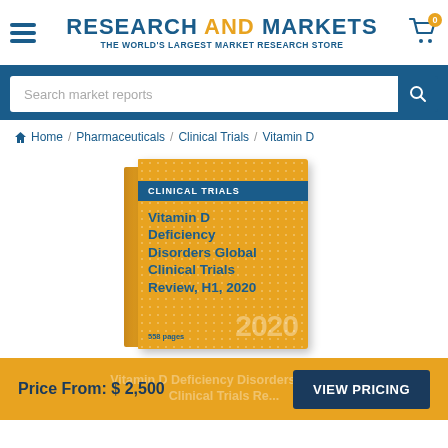[Figure (logo): Research and Markets logo with hamburger menu and shopping cart badge showing 0]
[Figure (screenshot): Search bar with placeholder 'Search market reports' and blue search button]
Home / Pharmaceuticals / Clinical Trials / Vitamin D
[Figure (illustration): Book cover: Clinical Trials - Vitamin D Deficiency Disorders Global Clinical Trials Review, H1, 2020. 558 pages. Yellow cover with blue banner.]
Price From: $ 2,500
VIEW PRICING